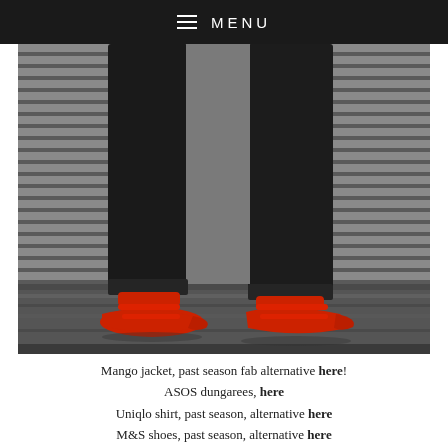≡ MENU
[Figure (photo): Lower body of a person wearing black skinny jeans and red pointed-toe mary jane flat shoes with two straps, standing in front of a corrugated metal shutter/roller door on a concrete pavement.]
Mango jacket, past season fab alternative here! ASOS dungarees, here Uniqlo shirt, past season, alternative here M&S shoes, past season, alternative here